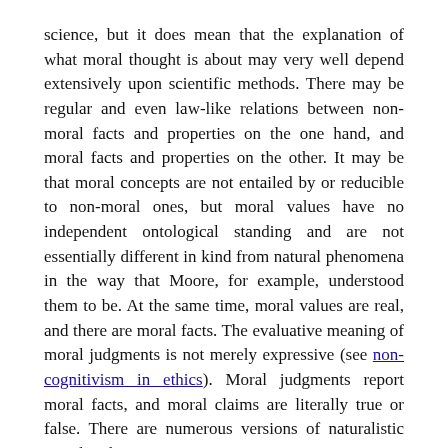science, but it does mean that the explanation of what moral thought is about may very well depend extensively upon scientific methods. There may be regular and even law-like relations between non-moral facts and properties on the one hand, and moral facts and properties on the other. It may be that moral concepts are not entailed by or reducible to non-moral ones, but moral values have no independent ontological standing and are not essentially different in kind from natural phenomena in the way that Moore, for example, understood them to be. At the same time, moral values are real, and there are moral facts. The evaluative meaning of moral judgments is not merely expressive (see non-cognitivism in ethics). Moral judgments report moral facts, and moral claims are literally true or false. There are numerous versions of naturalistic moral realism.
There are other versions of ethical naturalism that owe much more to Hume and make the case for antirealism rather than realism. It was central to Hume's moral theory that there are no...